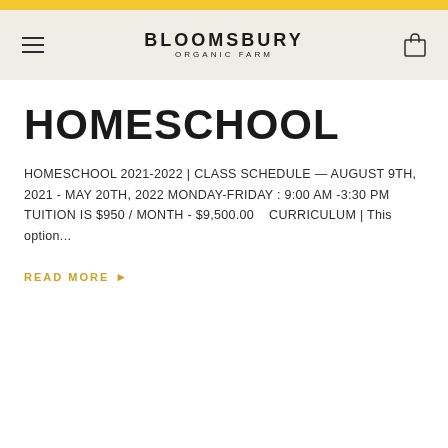BLOOMSBURY ORGANIC FARM
HOMESCHOOL
HOMESCHOOL 2021-2022 | CLASS SCHEDULE — AUGUST 9TH, 2021 - MAY 20TH, 2022 MONDAY-FRIDAY : 9:00 AM -3:30 PM TUITION IS $950 / MONTH - $9,500.00    CURRICULUM | This option...
READ MORE ▶